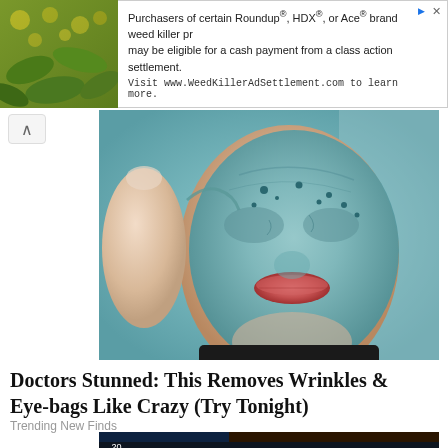[Figure (other): Advertisement banner: green plant photo on left, text on right reading 'Purchasers of certain Roundup®, HDX®, or Ace® brand weed killer products may be eligible for a cash payment from a class action settlement. Visit www.WeedKillerAdSettlement.com to learn more.']
[Figure (photo): Close-up photo of a person's face covered in a blue-grey clay face mask, with lips visible and a thumb/hand touching the side of the face]
Doctors Stunned: This Removes Wrinkles & Eye-bags Like Crazy (Try Tonight)
Trending New Finds
[Figure (photo): Photo of an older man with grey/blonde hair standing in front of a casino slot machine showing .20 and $11.71 amounts, with colorful slot machine graphics and neon lights in the background]